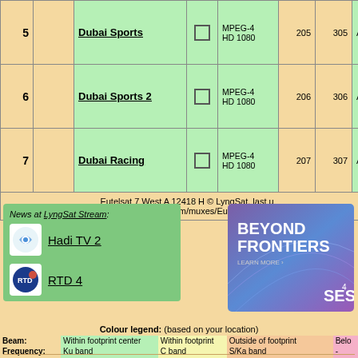| # | Logo | Name | Check | Format | Num1 | Num2 | A |
| --- | --- | --- | --- | --- | --- | --- | --- |
| 5 |  | Dubai Sports | ☐ | MPEG-4 HD 1080 | 205 | 305 | A |
| 6 |  | Dubai Sports 2 | ☐ | MPEG-4 HD 1080 | 206 | 306 | A |
| 7 |  | Dubai Racing | ☐ | MPEG-4 HD 1080 | 207 | 307 | A |
|  |  | Eutelsat 7 West A 12418 H © LyngSat, last u… https://www.lyngsat.com/muxes/Eutelsat-7-West-… |  |  |  |  |  |
News at LyngSat Stream:
Hadi TV 2
RTD 4
[Figure (logo): SES Beyond Frontiers advertisement banner]
Colour legend: (based on your location)
|  | Within footprint center | Within footprint | Outside of footprint | Belo |
| --- | --- | --- | --- | --- |
| Beam: | Within footprint center | Within footprint | Outside of footprint | Belo |
| Frequency: | Ku band | C band | S/Ka band | - |
| System: | DVB-S2 | DVB-S | non-DVB | - |
| Access: | Clear, HD | Clear, SD | Encrypted, subscribable | Encr |
The subscription info per country may be incomplete.